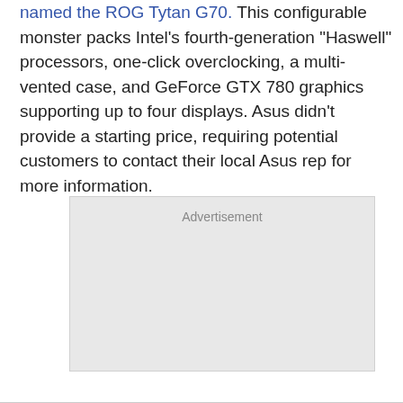named the ROG Tytan G70. This configurable monster packs Intel's fourth-generation "Haswell" processors, one-click overclocking, a multi-vented case, and GeForce GTX 780 graphics supporting up to four displays. Asus didn't provide a starting price, requiring potential customers to contact their local Asus rep for more information.
[Figure (other): Advertisement placeholder box with light gray background]